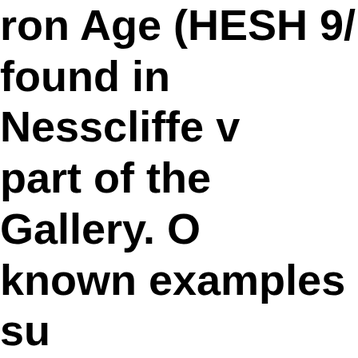Iron Age (HESH 9/... found in Nesscliffe v... part of the Gallery. O... known examples su... Iron Age. The spoon... unsuitable for eating... handles and shallow... suggesting the poss... practices such as di... ...and fi...